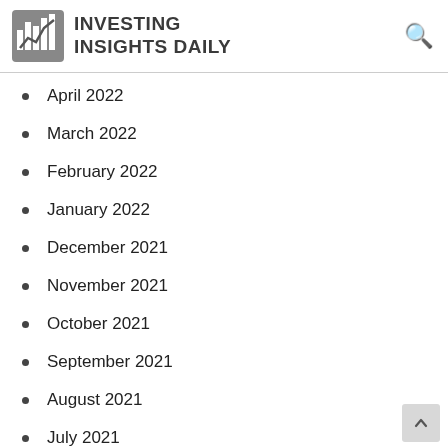INVESTING INSIGHTS DAILY
April 2022
March 2022
February 2022
January 2022
December 2021
November 2021
October 2021
September 2021
August 2021
July 2021